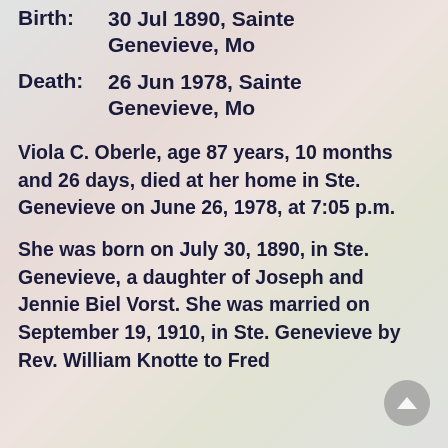Birth:    30 Jul 1890, Sainte Genevieve, Mo
Death:    26 Jun 1978, Sainte Genevieve, Mo
Viola C. Oberle, age 87 years, 10 months and 26 days, died at her home in Ste. Genevieve on June 26, 1978, at 7:05 p.m.
She was born on July 30, 1890, in Ste. Genevieve, a daughter of Joseph and Jennie Biel Vorst. She was married on September 19, 1910, in Ste. Genevieve by Rev. William Knotte to Fred